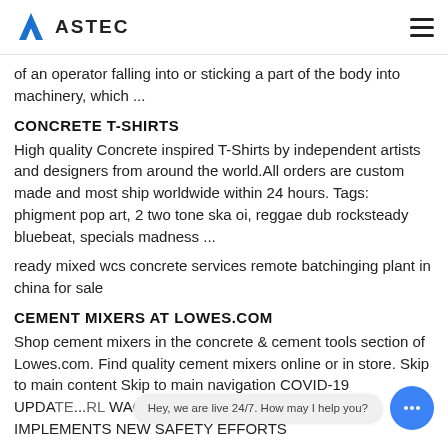ASTEC
of an operator falling into or sticking a part of the body into machinery, which ...
CONCRETE T-SHIRTS
High quality Concrete inspired T-Shirts by independent artists and designers from around the world.All orders are custom made and most ship worldwide within 24 hours. Tags: phigment pop art, 2 two tone ska oi, reggae dub rocksteady bluebeat, specials madness ...
ready mixed wcs concrete services remote batchinging plant in china for sale
CEMENT MIXERS AT LOWES.COM
Shop cement mixers in the concrete & cement tools section of Lowes.com. Find quality cement mixers online or in store. Skip to main content Skip to main navigation COVID-19 UPDA... RL WAGES FOR ASSOCIATES AND IMPLEMENTS NEW SAFETY EFFORTS